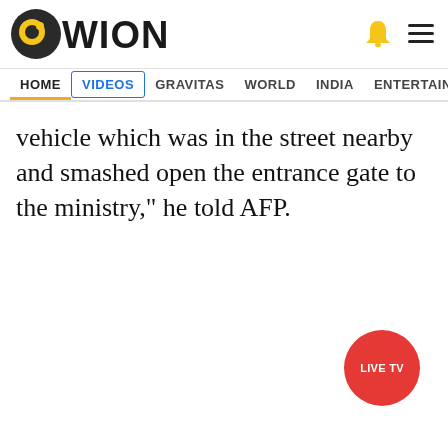[Figure (logo): WION news website logo with globe icon and WION text]
HOME  VIDEOS  GRAVITAS  WORLD  INDIA  ENTERTAINMENT  SPORTS
vehicle which was in the street nearby and smashed open the entrance gate to the ministry," he told AFP.
[Figure (other): LIVE TV red circular button with move/drag icon above it]